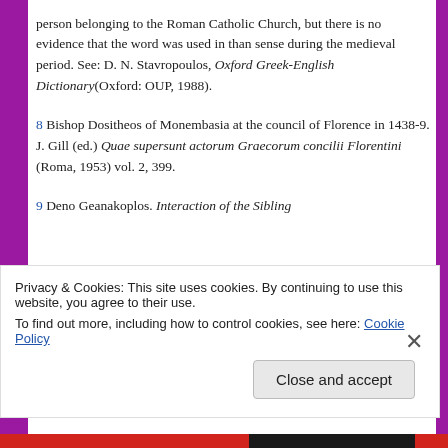person belonging to the Roman Catholic Church, but there is no evidence that the word was used in than sense during the medieval period. See: D. N. Stavropoulos, Oxford Greek-English Dictionary(Oxford: OUP, 1988).
8 Bishop Dositheos of Monembasia at the council of Florence in 1438-9. J. Gill (ed.) Quae supersunt actorum Graecorum concilii Florentini (Roma, 1953) vol. 2, 399.
9 Deno Geanakoplos. Interaction of the Sibling
Privacy & Cookies: This site uses cookies. By continuing to use this website, you agree to their use. To find out more, including how to control cookies, see here: Cookie Policy